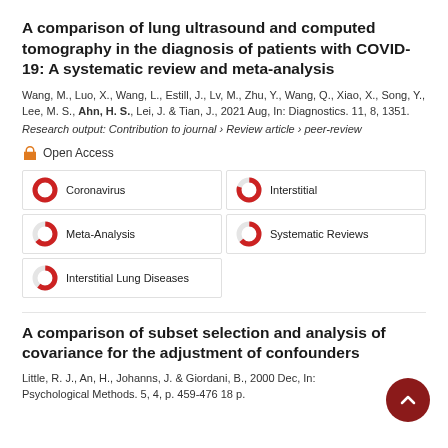A comparison of lung ultrasound and computed tomography in the diagnosis of patients with COVID-19: A systematic review and meta-analysis
Wang, M., Luo, X., Wang, L., Estill, J., Lv, M., Zhu, Y., Wang, Q., Xiao, X., Song, Y., Lee, M. S., Ahn, H. S., Lei, J. & Tian, J., 2021 Aug, In: Diagnostics. 11, 8, 1351.
Research output: Contribution to journal › Review article › peer-review
Open Access
Coronavirus
Interstitial
Meta-Analysis
Systematic Reviews
Interstitial Lung Diseases
A comparison of subset selection and analysis of covariance for the adjustment of confounders
Little, R. J., An, H., Johanns, J. & Giordani, B., 2000 Dec, In: Psychological Methods. 5, 4, p. 459-476 18 p.